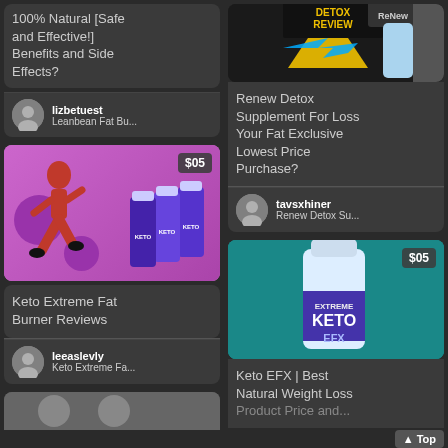100% Natural [Safe and Effective!] Benefits and Side Effects?
lizbetuest
Leanbean Fat Bu...
[Figure (photo): Purple background with woman running and Keto Extreme product bottles, price badge $05]
Keto Extreme Fat Burner Reviews
leeaslevly
Keto Extreme Fa...
[Figure (photo): Renew Detox supplement review image with product bottle and woman]
Renew Detox Supplement For Loss Your Fat Exclusive Lowest Price Purchase?
tavsxhiner
Renew Detox Su...
[Figure (photo): Extreme Keto EFX product bottle on teal background, price badge $05]
Keto EFX | Best Natural Weight Loss Product Price and...